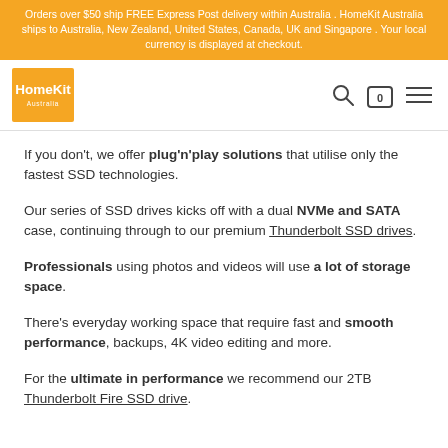Orders over $50 ship FREE Express Post delivery within Australia . HomeKit Australia ships to Australia, New Zealand, United States, Canada, UK and Singapore . Your local currency is displayed at checkout.
[Figure (logo): HomeKit Australia orange logo with white text]
If you don't, we offer plug'n'play solutions that utilise only the fastest SSD technologies.
Our series of SSD drives kicks off with a dual NVMe and SATA case, continuing through to our premium Thunderbolt SSD drives.
Professionals using photos and videos will use a lot of storage space.
There's everyday working space that require fast and smooth performance, backups, 4K video editing and more.
For the ultimate in performance we recommend our 2TB Thunderbolt Fire SSD drive.